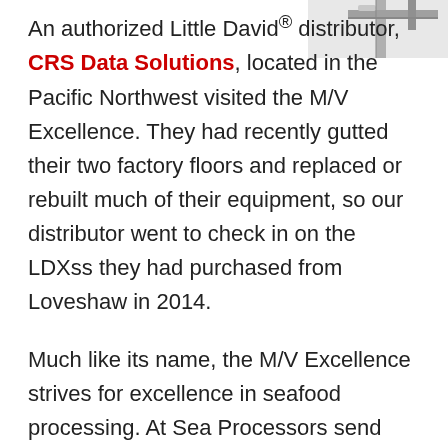[Figure (photo): Partial image of industrial packaging/taping machine equipment, gray metallic, top-right corner of page]
An authorized Little David® distributor, CRS Data Solutions, located in the Pacific Northwest visited the M/V Excellence. They had recently gutted their two factory floors and replaced or rebuilt much of their equipment, so our distributor went to check in on the LDXss they had purchased from Loveshaw in 2014.
Much like its name, the M/V Excellence strives for excellence in seafood processing. At Sea Processors send complete communities to sea to catch, process, and pack seafood. The vessel measures approximately the size of a football field and employs a crew of ranging from 115 to 147 individuals depending on the seasons and fisheries. The M/V Excellence freezer capacity is 1,700 metric tons of finished product! When the vessel is at sea, typically 3-4 months at a time, packaging equipment is used 24/7 and it